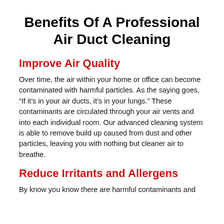Benefits Of A Professional Air Duct Cleaning
Improve Air Quality
Over time, the air within your home or office can become contaminated with harmful particles. As the saying goes, “If it’s in your air ducts, it’s in your lungs.” These contaminants are circulated through your air vents and into each individual room. Our advanced cleaning system is able to remove build up caused from dust and other particles, leaving you with nothing but cleaner air to breathe.
Reduce Irritants and Allergens
By know you know there are harmful contaminants and